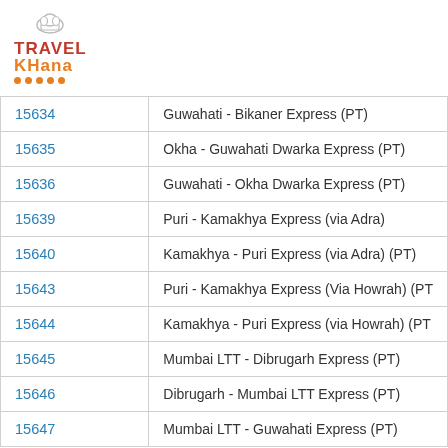[Figure (logo): Travel Khana logo with chef hat icon and orange dots]
| 15634 | Guwahati - Bikaner Express (PT) |
| 15635 | Okha - Guwahati Dwarka Express (PT) |
| 15636 | Guwahati - Okha Dwarka Express (PT) |
| 15639 | Puri - Kamakhya Express (via Adra) |
| 15640 | Kamakhya - Puri Express (via Adra) (PT) |
| 15643 | Puri - Kamakhya Express (Via Howrah) (PT) |
| 15644 | Kamakhya - Puri Express (via Howrah) (PT) |
| 15645 | Mumbai LTT - Dibrugarh Express (PT) |
| 15646 | Dibrugarh - Mumbai LTT Express (PT) |
| 15647 | Mumbai LTT - Guwahati Express (PT) |